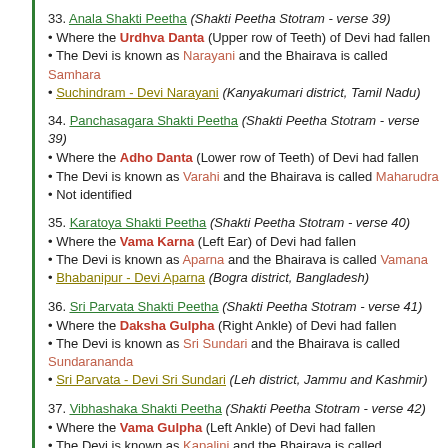33. Anala Shakti Peetha (Shakti Peetha Stotram - verse 39)
• Where the Urdhva Danta (Upper row of Teeth) of Devi had fallen
• The Devi is known as Narayani and the Bhairava is called Samhara
• Suchindram - Devi Narayani (Kanyakumari district, Tamil Nadu)
34. Panchasagara Shakti Peetha (Shakti Peetha Stotram - verse 39)
• Where the Adho Danta (Lower row of Teeth) of Devi had fallen
• The Devi is known as Varahi and the Bhairava is called Maharudra
• Not identified
35. Karatoya Shakti Peetha (Shakti Peetha Stotram - verse 40)
• Where the Vama Karna (Left Ear) of Devi had fallen
• The Devi is known as Aparna and the Bhairava is called Vamana
• Bhabanipur - Devi Aparna (Bogra district, Bangladesh)
36. Sri Parvata Shakti Peetha (Shakti Peetha Stotram - verse 41)
• Where the Daksha Gulpha (Right Ankle) of Devi had fallen
• The Devi is known as Sri Sundari and the Bhairava is called Sundarananda
• Sri Parvata - Devi Sri Sundari (Leh district, Jammu and Kashmir)
37. Vibhashaka Shakti Peetha (Shakti Peetha Stotram - verse 42)
• Where the Vama Gulpha (Left Ankle) of Devi had fallen
• The Devi is known as Kapalini and the Bhairava is called